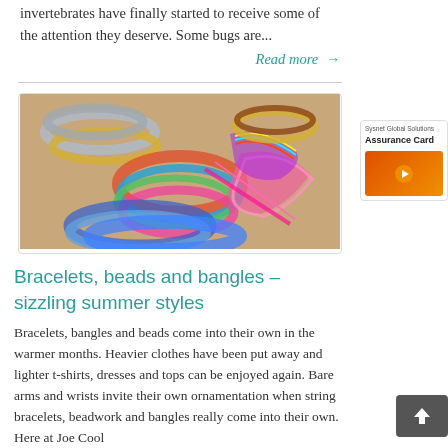invertebrates have finally started to receive some of the attention they deserve. Some bugs are...
Read more →
[Figure (photo): A collection of colorful bracelets, bangles and beaded jewelry arranged on a wooden surface. The jewelry includes braided string bracelets, beaded bracelets, and woven bangles in vibrant colors including pink, blue, green, orange, and gold.]
Bracelets, beads and bangles – sizzling summer styles
Bracelets, bangles and beads come into their own in the warmer months. Heavier clothes have been put away and lighter t-shirts, dresses and tops can be enjoyed again. Bare arms and wrists invite their own ornamentation when string bracelets, beadwork and bangles really come into their own. Here at Joe Cool